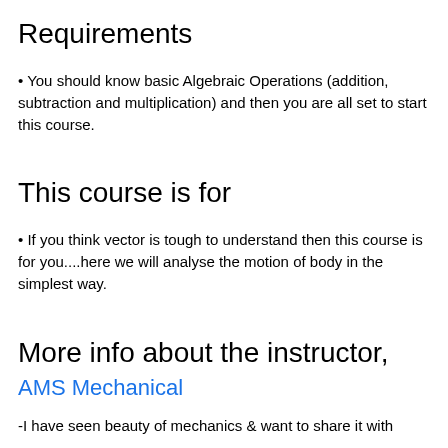Requirements
• You should know basic Algebraic Operations (addition, subtraction and multiplication) and then you are all set to start this course.
This course is for
• If you think vector is tough to understand then this course is for you....here we will analyse the motion of body in the simplest way.
More info about the instructor,
AMS Mechanical
-I have seen beauty of mechanics & want to share it with